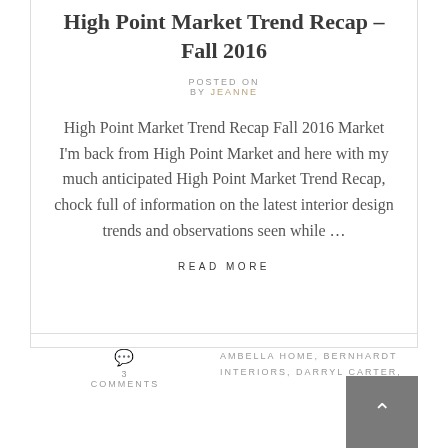High Point Market Trend Recap – Fall 2016
POSTED ON
BY JEANNE
High Point Market Trend Recap Fall 2016 Market I'm back from High Point Market and here with my much anticipated High Point Market Trend Recap, chock full of information on the latest interior design trends and observations seen while …
READ MORE
3 COMMENTS
AMBELLA HOME, BERNHARDT INTERIORS, DARRYL CARTER,